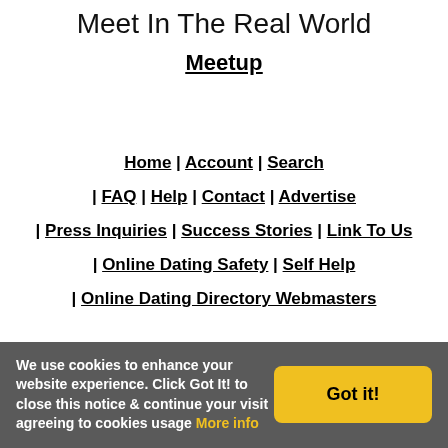Meet In The Real World
Meetup
Home | Account | Search
| FAQ | Help | Contact | Advertise
| Press Inquiries | Success Stories | Link To Us
| Online Dating Safety | Self Help
| Online Dating Directory Webmasters
We use cookies to enhance your website experience. Click Got It! to close this notice & continue your visit agreeing to cookies usage More info
Got it!